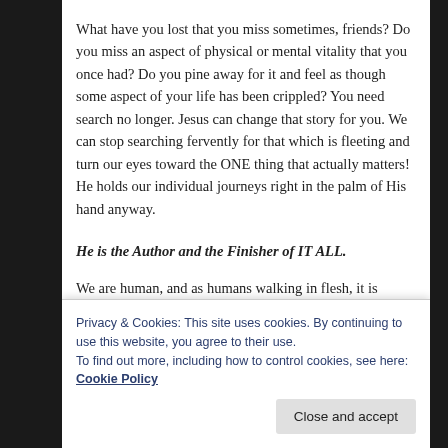What have you lost that you miss sometimes, friends? Do you miss an aspect of physical or mental vitality that you once had? Do you pine away for it and feel as though some aspect of your life has been crippled? You need search no longer. Jesus can change that story for you. We can stop searching fervently for that which is fleeting and turn our eyes toward the ONE thing that actually matters! He holds our individual journeys right in the palm of His hand anyway.
He is the Author and the Finisher of IT ALL.
We are human, and as humans walking in flesh, it is natural we should miss such things when we lose them.
Privacy & Cookies: This site uses cookies. By continuing to use this website, you agree to their use.
To find out more, including how to control cookies, see here: Cookie Policy